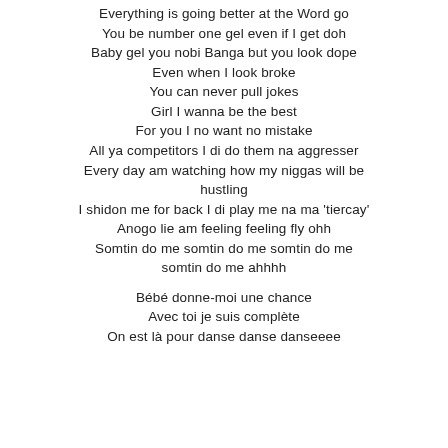Everything is going better at the Word go
You be number one gel even if I get doh
Baby gel you nobi Banga but you look dope
Even when I look broke
You can never pull jokes
Girl I wanna be the best
For you I no want no mistake
All ya competitors I di do them na aggresser
Every day am watching how my niggas will be hustling
I shidon me for back I di play me na ma 'tiercay'
Anogo lie am feeling feeling fly ohh
Somtin do me somtin do me somtin do me somtin do me ahhhh

Bébé donne-moi une chance
Avec toi je suis complète
On est là pour danse danse danseeee